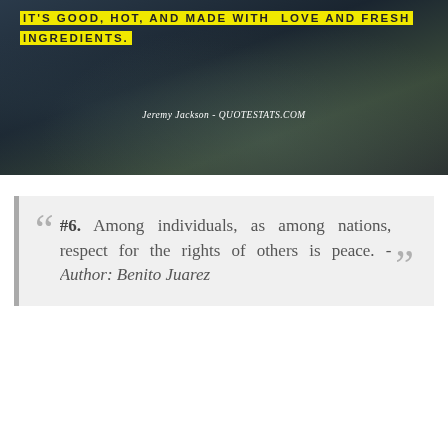[Figure (photo): Dark atmospheric background image with clouds and text overlay. Yellow highlighted uppercase text: '...IT'S GOOD, HOT, AND MADE WITH LOVE AND FRESH INGREDIENTS.' with attribution 'Jeremy Jackson - QUOTESTATS.COM']
IT'S GOOD, HOT, AND MADE WITH LOVE AND FRESH INGREDIENTS.
Jeremy Jackson - QUOTESTATS.COM
#6. Among individuals, as among nations, respect for the rights of others is peace. - Author: Benito Juarez
[Figure (photo): Dark green bokeh background with yellow bold text beginning: 'Among individuals, as among nations, respect for the rights of others is']